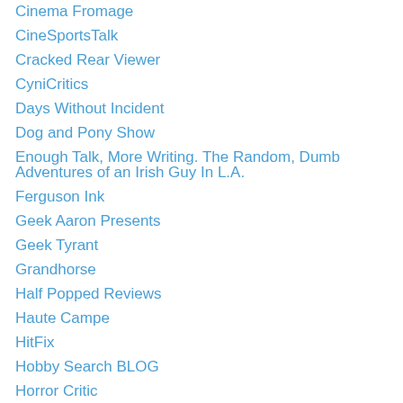Cinema Fromage
CineSportsTalk
Cracked Rear Viewer
CyniCritics
Days Without Incident
Dog and Pony Show
Enough Talk, More Writing. The Random, Dumb Adventures of an Irish Guy In L.A.
Ferguson Ink
Geek Aaron Presents
Geek Tyrant
Grandhorse
Half Popped Reviews
Haute Campe
HitFix
Hobby Search BLOG
Horror Critic
Horrorpedia
Images by Erin
Journeys in Classic Fim